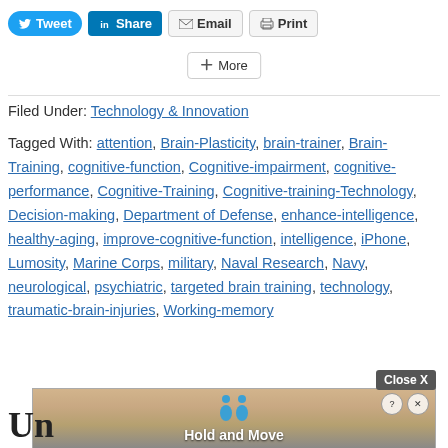[Figure (screenshot): Social sharing buttons: Tweet (blue rounded), Share (LinkedIn blue), Email (grey), Print (grey), and More button below]
Filed Under: Technology & Innovation
Tagged With: attention, Brain-Plasticity, brain-trainer, Brain-Training, cognitive-function, Cognitive-impairment, cognitive-performance, Cognitive-Training, Cognitive-training-Technology, Decision-making, Department of Defense, enhance-intelligence, healthy-aging, improve-cognitive-function, intelligence, iPhone, Lumosity, Marine Corps, military, Naval Research, Navy, neurological, psychiatric, targeted brain training, technology, traumatic-brain-injuries, Working-memory
[Figure (screenshot): Advertisement banner showing 'Hold and Move' game with blue figures and wood background texture. Close X button in top right corner.]